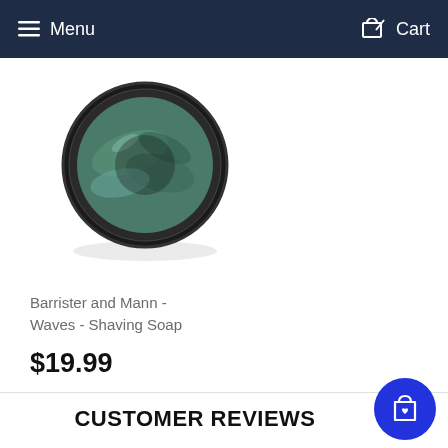Menu   Cart
[Figure (photo): Circular tin of Barrister and Mann Waves Shaving Soap, viewed from above, dark rim with teal/green product visible inside]
Barrister and Mann - Waves - Shaving Soap
$19.99
CUSTOMER REVIEWS